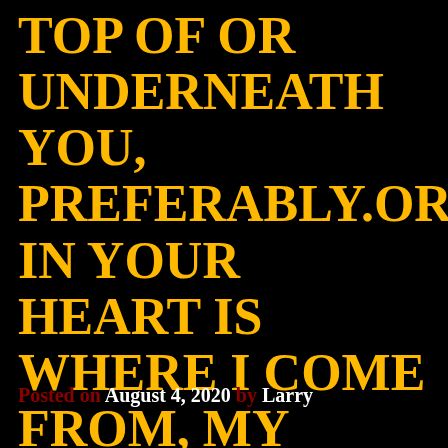TOP OF OR UNDERNEATH YOU, PREFERABLY.OR IN YOUR HEART IS WHERE I COME FROM, MY MODEL NAME IS FANTASYLILLA
Posted on August 4, 2020 by Larry